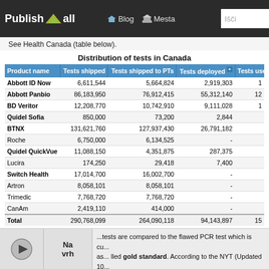Publish all | Blog | Mesta | Išči
See Health Canada (table below).
Distribution of tests in Canada
| Product name | Tests shipped | Tests shipped to PTs | Tests deployed | Tests used (as reporte... |
| --- | --- | --- | --- | --- |
| Abbott ID Now | 6,611,544 | 5,664,824 | 2,919,303 | 1 |
| Abbott Panbio | 86,183,950 | 76,912,415 | 55,312,140 | 12 |
| BD Veritor | 12,208,770 | 10,742,910 | 9,111,028 | 1 |
| Quidel Sofia | 850,000 | 73,200 | 2,844 |  |
| BTNX | 131,621,760 | 127,937,430 | 26,791,182 |  |
| Roche | 6,750,000 | 6,134,525 | - |  |
| Quidel QuickVue | 11,088,150 | 4,351,875 | 287,375 |  |
| Lucira | 174,250 | 29,418 | 7,400 |  |
| Switch Health | 17,014,700 | 16,002,700 | - |  |
| Artron | 8,058,101 | 8,058,101 | - |  |
| Trimedic | 7,768,720 | 7,768,720 | - |  |
| CanAm | 2,419,110 | 414,000 | - |  |
| Total | 290,768,099 | 264,090,118 | 94,143,897 | 15 |
“The Gold Standard” PCR Test
...tests are compared to the flawed PCR test which is cu... as... lled gold standard. According to the NYT (Updated 10... rapid antigen and home test kits are less effective th...